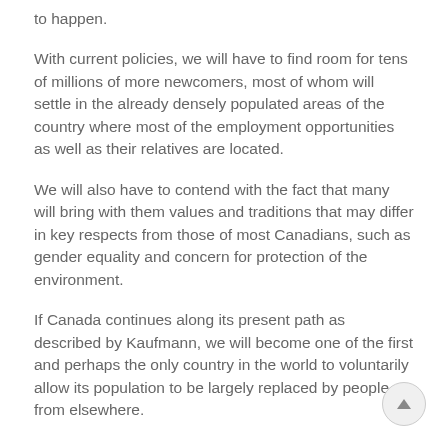to happen.
With current policies, we will have to find room for tens of millions of more newcomers, most of whom will settle in the already densely populated areas of the country where most of the employment opportunities as well as their relatives are located.
We will also have to contend with the fact that many will bring with them values and traditions that may differ in key respects from those of most Canadians, such as gender equality and concern for protection of the environment.
If Canada continues along its present path as described by Kaufmann, we will become one of the first and perhaps the only country in the world to voluntarily allow its population to be largely replaced by people from elsewhere.